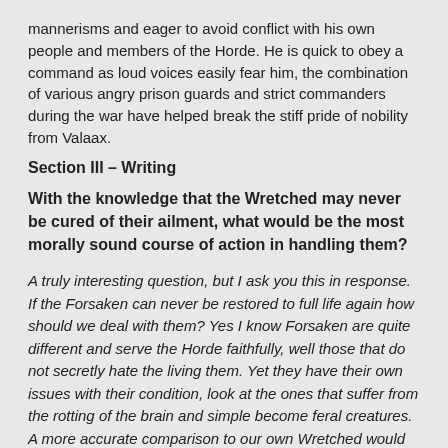mannerisms and eager to avoid conflict with his own people and members of the Horde. He is quick to obey a command as loud voices easily fear him, the combination of various angry prison guards and strict commanders during the war have helped break the stiff pride of nobility from Valaax.
Section III – Writing
With the knowledge that the Wretched may never be cured of their ailment, what would be the most morally sound course of action in handling them?
A truly interesting question, but I ask you this in response. If the Forsaken can never be restored to full life again how should we deal with them? Yes I know Forsaken are quite different and serve the Horde faithfully, well those that do not secretly hate the living them. Yet they have their own issues with their condition, look at the ones that suffer from the rotting of the brain and simple become feral creatures. A more accurate comparison to our own Wretched would you not agree? A rotting of their mind due to certain issues